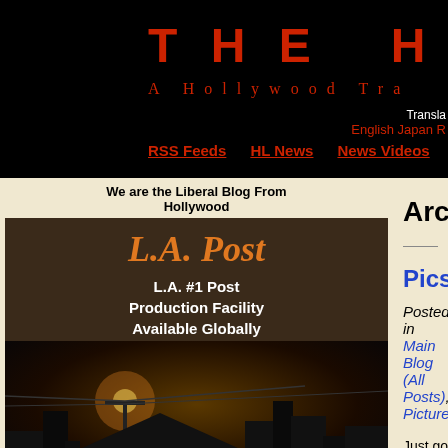THE HOLLYW... A Hollywood Tra...
Translate: English Japan R...
RSS Feeds  HL News  News Videos  HL's Com...
We are the Liberal Blog From Hollywood
[Figure (advertisement): L.A. Post advertisement: L.A. #1 Post Production Facility Available Globally, with city skyline photo at night]
Premier Video/Audio Editing, Clones, Dubs
Archive for A...
Pics. from Factotum Press I...
Posted in Main Blog (All Posts), Pictures...
Just got back from the press interviews for Factotu... write up after. Here are a couple of pics. of Matt Di...